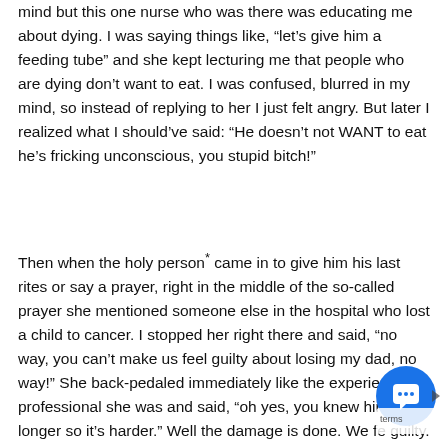mind but this one nurse who was there was educating me about dying. I was saying things like, “let’s give him a feeding tube” and she kept lecturing me that people who are dying don’t want to eat. I was confused, blurred in my mind, so instead of replying to her I just felt angry. But later I realized what I should’ve said: “He doesn’t not WANT to eat he’s fricking unconscious, you stupid bitch!”
Then when the holy person* came in to give him his last rites or say a prayer, right in the middle of the so-called prayer she mentioned someone else in the hospital who lost a child to cancer. I stopped her right there and said, “no way, you can’t make us feel guilty about losing my dad, no way!” She back-pedaled immediately like the experienced professional she was and said, “oh yes, you knew him longer so it’s harder.” Well the damage is done. We fe guilty. Thanks.
[Figure (other): Blue circular chat widget button with speech bubble icon in the bottom right corner, with a 'terms' label nearby]